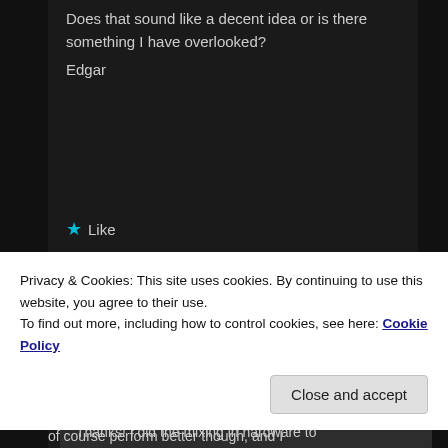Does that sound like a decent idea or is there something I have overlooked?
Edgar
★ Like
Reply ↓
Dan Berard on May 18, 2019 at 7:09 pm said:
Hi Edgar,
Thanks! I did the mixing in hardware to
Privacy & Cookies: This site uses cookies. By continuing to use this website, you agree to their use.
To find out more, including how to control cookies, see here: Cookie Policy
Close and accept
of course perform better though, and I